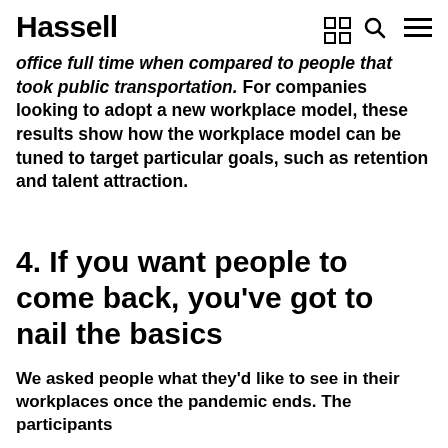Hassell
office full time when compared to people that took public transportation. For companies looking to adopt a new workplace model, these results show how the workplace model can be tuned to target particular goals, such as retention and talent attraction.
4. If you want people to come back, you've got to nail the basics
We asked people what they'd like to see in their workplaces once the pandemic ends. The participants